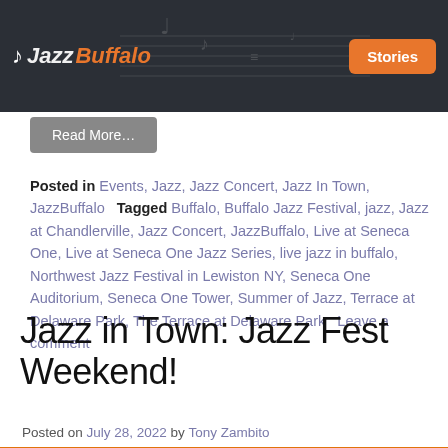Jazz Buffalo — Stories
Read More…
Posted in Events, Jazz, Jazz Concert, Jazz In Town, JazzBuffalo   Tagged Buffalo, Buffalo Jazz Festival, jazz, Jazz at Chandlerville, Jazz Concert, JazzBuffalo, Live at Seneca One, Live at Seneca One Jazz Series, live jazz in buffalo, Northwest Jazz Festival in Lewiston NY, Seneca One Auditorium, Seneca One Tower, Summer of Jazz, Terrace at Delaware Park, The Terrace at Delaware Park   Leave a comment
Jazz in Town: Jazz Fest Weekend!
Posted on July 28, 2022 by Tony Zambito